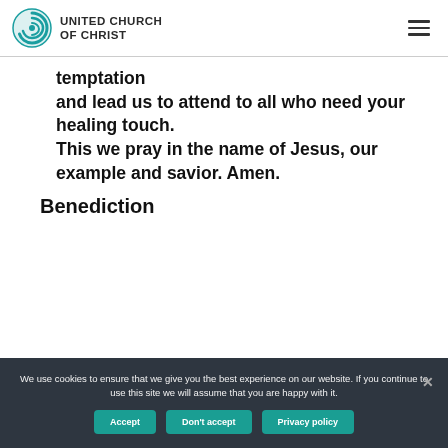UNITED CHURCH OF CHRIST
temptation
and lead us to attend to all who need your healing touch.
This we pray in the name of Jesus, our example and savior. Amen.
Benediction
We use cookies to ensure that we give you the best experience on our website. If you continue to use this site we will assume that you are happy with it.